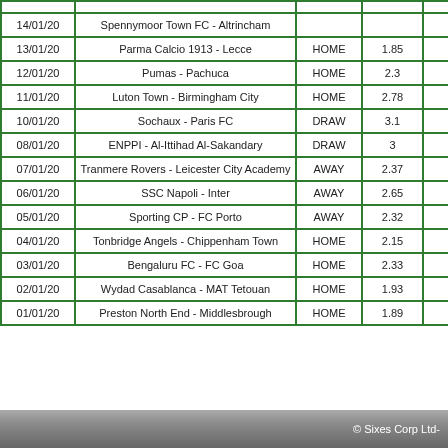| Date | Match | Result | Odds |  |
| --- | --- | --- | --- | --- |
| 14/01/20 | Spennymoor Town FC - Altrincham |  |  |  |
| 13/01/20 | Parma Calcio 1913 - Lecce | HOME | 1.85 |  |
| 12/01/20 | Pumas - Pachuca | HOME | 2.3 |  |
| 11/01/20 | Luton Town - Birmingham City | HOME | 2.78 |  |
| 10/01/20 | Sochaux - Paris FC | DRAW | 3.1 |  |
| 08/01/20 | ENPPI - Al-Ittihad Al-Sakandary | DRAW | 3 |  |
| 07/01/20 | Tranmere Rovers - Leicester City Academy | AWAY | 2.37 |  |
| 06/01/20 | SSC Napoli - Inter | AWAY | 2.65 |  |
| 05/01/20 | Sporting CP - FC Porto | AWAY | 2.32 |  |
| 04/01/20 | Tonbridge Angels - Chippenham Town | HOME | 2.15 |  |
| 03/01/20 | Bengaluru FC - FC Goa | HOME | 2.33 |  |
| 02/01/20 | Wydad Casablanca - MAT Tetouan | HOME | 1.93 |  |
| 01/01/20 | Preston North End - Middlesbrough | HOME | 1.89 |  |
© Sixes Corp Ltd-